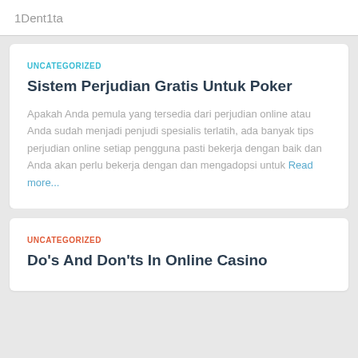1Dent1ta
UNCATEGORIZED
Sistem Perjudian Gratis Untuk Poker
Apakah Anda pemula yang tersedia dari perjudian online atau Anda sudah menjadi penjudi spesialis terlatih, ada banyak tips perjudian online setiap pengguna pasti bekerja dengan baik dan Anda akan perlu bekerja dengan dan mengadopsi untuk Read more...
UNCATEGORIZED
Do's And Don'ts In Online Casino